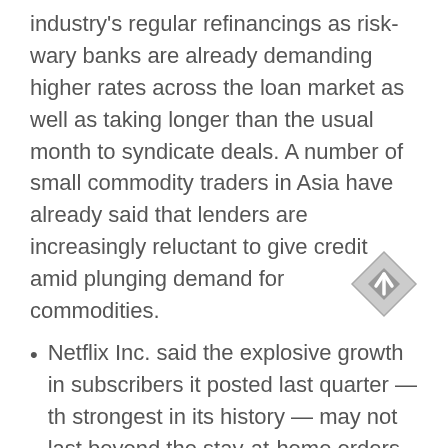industry's regular refinancings as risk-wary banks are already demanding higher rates across the loan market as well as taking longer than the usual month to syndicate deals. A number of small commodity traders in Asia have already said that lenders are increasingly reluctant to give credit amid plunging demand for commodities.
Netflix Inc. said the explosive growth in subscribers it posted last quarter — the strongest in its history — may not last beyond the stay-at-home orders. Adding a record 15.8 million subscribers, Netflix benefited in the first quarter from an unprecedented health crisis, the global coronavirus pandemic. With billions of people stuck at home, the world's largest paid online TV network experienced an